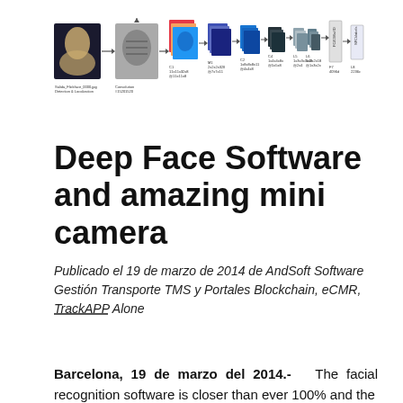[Figure (engineering-diagram): Neural network deep face recognition pipeline diagram showing a photo of a woman, feature maps, convolutional layers (C1 through L6), FC layer, and SFC labels output, with labeled layer dimensions below each block.]
Deep Face Software and amazing mini camera
Publicado el 19 de marzo de 2014 de AndSoft Software Gestión Transporte TMS y Portales Blockchain, eCMR, TrackAPP Alone
Barcelona, 19 de marzo del 2014.- The facial recognition software is closer than ever 100% and the